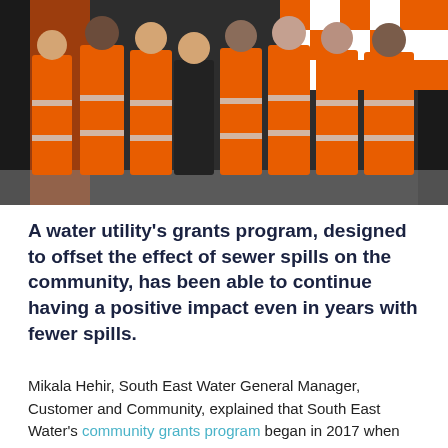[Figure (photo): Group photo of approximately nine people, most wearing bright orange high-visibility overalls/uniforms with reflective stripes (SES-style emergency service workers), standing in front of orange and white chequered vehicles/backdrop. One person in the centre wears a black top and dark jeans.]
A water utility's grants program, designed to offset the effect of sewer spills on the community, has been able to continue having a positive impact even in years with fewer spills.
Mikala Hehir, South East Water General Manager, Customer and Community, explained that South East Water's community grants program began in 2017 when the utility sought information regarding